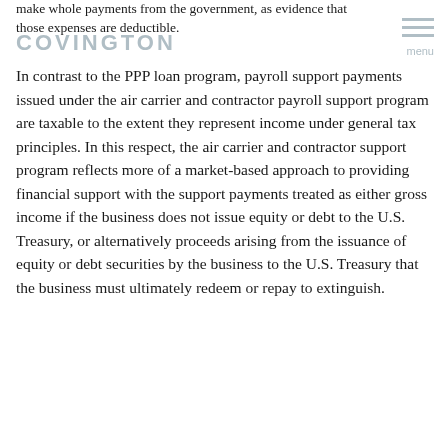make whole payments from the government, as evidence that those expenses are deductible.
COVINGTON
In contrast to the PPP loan program, payroll support payments issued under the air carrier and contractor payroll support program are taxable to the extent they represent income under general tax principles. In this respect, the air carrier and contractor support program reflects more of a market-based approach to providing financial support with the support payments treated as either gross income if the business does not issue equity or debt to the U.S. Treasury, or alternatively proceeds arising from the issuance of equity or debt securities by the business to the U.S. Treasury that the business must ultimately redeem or repay to extinguish.